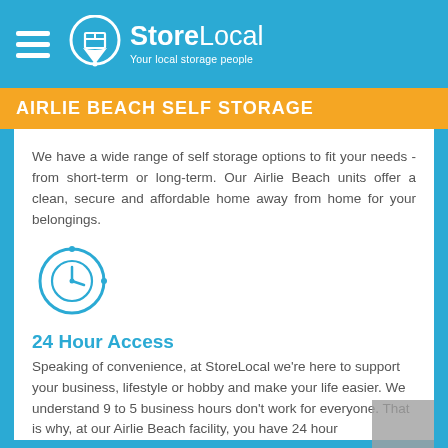StoreLocal — Your local storage people
AIRLIE BEACH SELF STORAGE
We have a wide range of self storage options to fit your needs - from short-term or long-term. Our Airlie Beach units offer a clean, secure and affordable home away from home for your belongings.
[Figure (illustration): A circular clock/time icon in blue outline style]
24 Hour Access
Speaking of convenience, at StoreLocal we're here to support your business, lifestyle or hobby and make your life easier. We understand 9 to 5 business hours don't work for everyone. That is why, at our Airlie Beach facility, you have 24 hour